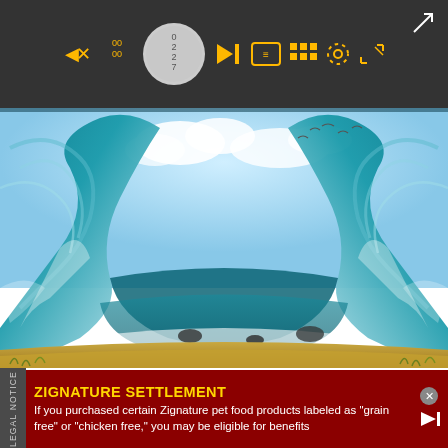[Figure (screenshot): Video player toolbar with play controls, a circular icon, grid/settings icons in yellow/gold color on dark gray background]
[Figure (photo): Dramatic artistic photo of a massive tsunami wave curling from both sides over a beach with blue sky and clouds visible between the wave walls]
Scientists find evidence for biggest earthquake in human history
The quake was so ruinous, humans fled the area for
ZIGNATURE SETTLEMENT
If you purchased certain Zignature pet food products labeled as "grain free" or "chicken free," you may be eligible for benefits